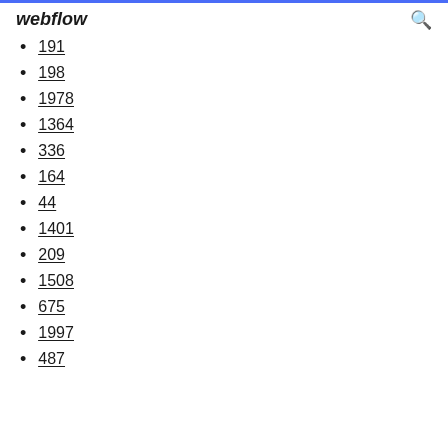webflow
191
198
1978
1364
336
164
44
1401
209
1508
675
1997
487